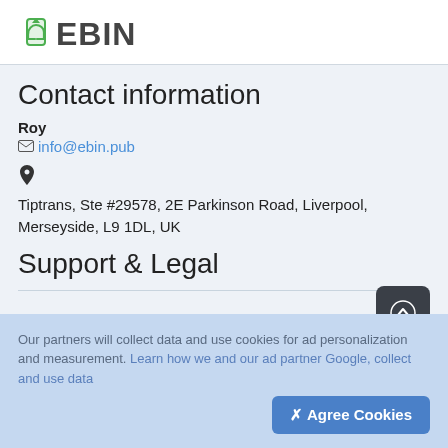[Figure (logo): EBIN logo with green recycling phone icon and grey bold EBIN text]
Contact information
Roy
info@ebin.pub
Tiptrans, Ste #29578, 2E Parkinson Road, Liverpool, Merseyside, L9 1DL, UK
Support & Legal
Our partners will collect data and use cookies for ad personalization and measurement. Learn how we and our ad partner Google, collect and use data
✗ Agree Cookies